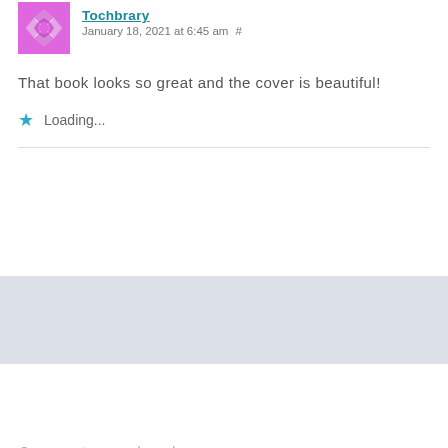Tochbrary
January 18, 2021 at 6:45 am #
That book looks so great and the cover is beautiful!
Loading...
Comments are closed.